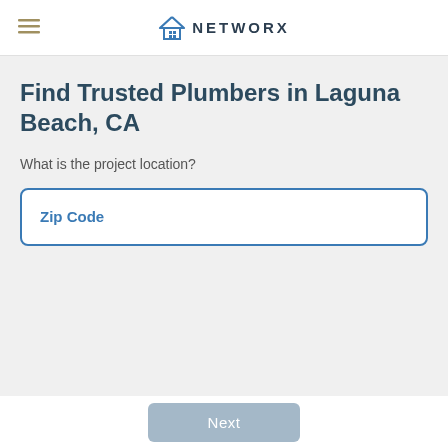NETWORX
Find Trusted Plumbers in Laguna Beach, CA
What is the project location?
Zip Code
Next